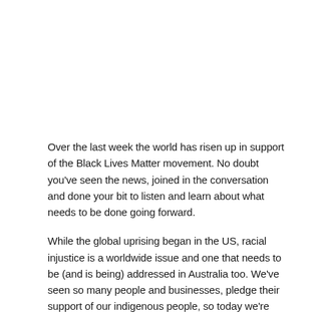Over the last week the world has risen up in support of the Black Lives Matter movement. No doubt you've seen the news, joined in the conversation and done your bit to listen and learn about what needs to be done going forward.
While the global uprising began in the US, racial injustice is a worldwide issue and one that needs to be (and is being) addressed in Australia too. We've seen so many people and businesses, pledge their support of our indigenous people, so today we're here to discuss how.